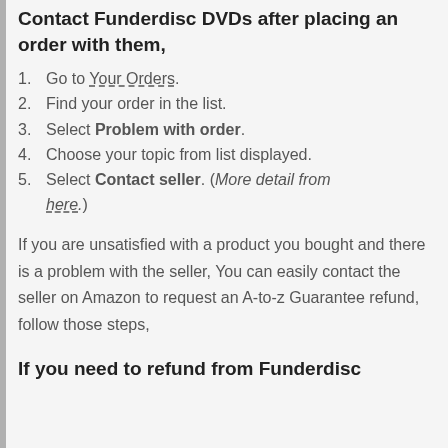Contact Funderdisc DVDs after placing an order with them,
Go to Your Orders.
Find your order in the list.
Select Problem with order.
Choose your topic from list displayed.
Select Contact seller. (More detail from here.)
If you are unsatisfied with a product you bought and there is a problem with the seller, You can easily contact the seller on Amazon to request an A-to-z Guarantee refund, follow those steps,
If you need to refund from Funderdisc